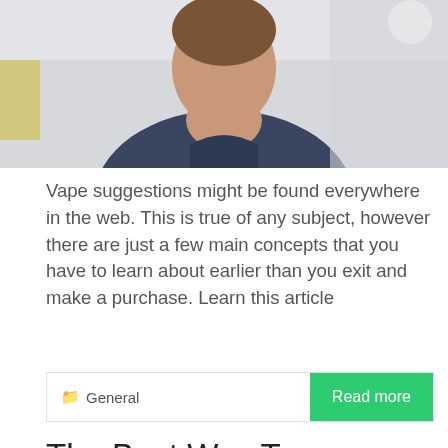[Figure (photo): Cropped photo of a woman in a dark blazer, seated in an office environment, upper body visible, light background.]
Vape suggestions might be found everywhere in the web. This is true of any subject, however there are just a few main concepts that you have to learn about earlier than you exit and make a purchase. Learn this article
General   Read more
The Best Way To Customize A T-Shirt
[Figure (illustration): Illustrated image with cartoon figures and a hand holding a pen, related to customization or design concept.]